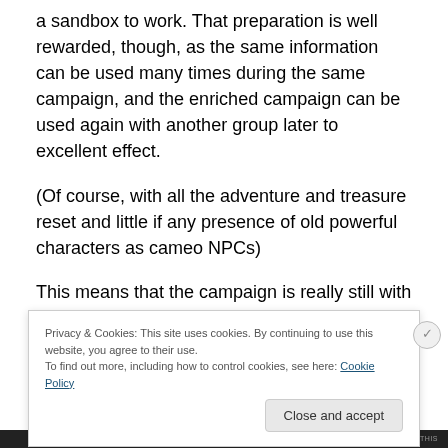a sandbox to work. That preparation is well rewarded, though, as the same information can be used many times during the same campaign, and the enriched campaign can be used again with another group later to excellent effect.
(Of course, with all the adventure and treasure reset and little if any presence of old powerful characters as cameo NPCs)
This means that the campaign is really still with boundaries – after all, without wooden slats all the sand
Privacy & Cookies: This site uses cookies. By continuing to use this website, you agree to their use.
To find out more, including how to control cookies, see here: Cookie Policy
Close and accept